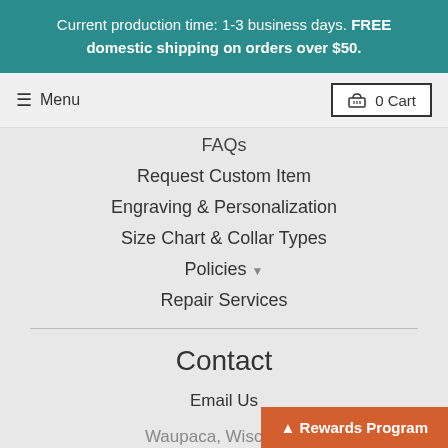Current production time: 1-3 business days. FREE domestic shipping on orders over $50.
Menu
0 Cart
FAQs
Request Custom Item
Engraving & Personalization
Size Chart & Collar Types
Policies
Repair Services
Contact
Email Us
Waupaca, Wisconsin
Rewards Program